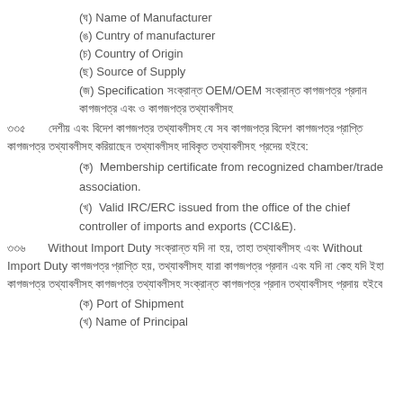(ঘ) Name of Manufacturer
(ঙ) Cuntry of manufacturer
(চ) Country of Origin
(ছ) Source of Supply
(জ) Specification সংক্রান্ত OEM/OEM সংক্রান্ত কাগজপত্র প্রদান কাগজপত্র এবং ও কাগজপত্র তথ্যাবলীসহ
৩৩৫  দেশীয় এবং বিদেশ কাগজপত্র তথ্যাবলীসহ যে সব কাগজপত্র বিদেশ কাগজপত্র প্রাপ্তি কাগজপত্র তথ্যাবলীসহ করিয়াছেন তথ্যাবলীসহ দাবিকৃত তথ্যাবলীসহ প্রদেয় হইবে:
(ক)  Membership certificate from recognized chamber/trade association.
(খ)  Valid IRC/ERC issued from the office of the chief controller of imports and exports (CCI&E).
৩৩৬  Without Import Duty সংক্রান্ত যদি না হয়, তাহা তথ্যাবলীসহ এবং Without Import Duty কাগজপত্র প্রাপ্তি হয়, তথ্যাবলীসহ যারা কাগজপত্র প্রদান এবং যদি না কেহ যদি ইহা কাগজপত্র তথ্যাবলীসহ কাগজপত্র তথ্যাবলীসহ সংক্রান্ত কাগজপত্র প্রদান তথ্যাবলীসহ প্রদায় হইবে
(ক) Port of Shipment
(খ) Name of Principal